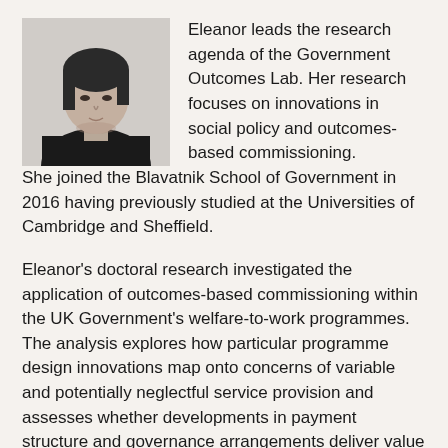[Figure (photo): Black and white portrait photo of a woman with short dark hair, wearing a dark top, looking slightly to the side]
Eleanor leads the research agenda of the Government Outcomes Lab. Her research focuses on innovations in social policy and outcomes-based commissioning. She joined the Blavatnik School of Government in 2016 having previously studied at the Universities of Cambridge and Sheffield.
Eleanor's doctoral research investigated the application of outcomes-based commissioning within the UK Government's welfare-to-work programmes. The analysis explores how particular programme design innovations map onto concerns of variable and potentially neglectful service provision and assesses whether developments in payment structure and governance arrangements deliver value for money to commissioners.
Before moving to Oxford, Eleanor gained experience